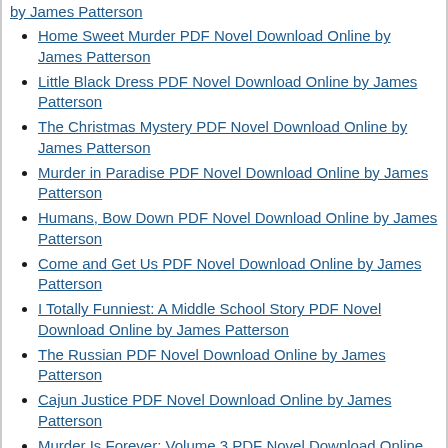by James Patterson
Home Sweet Murder PDF Novel Download Online by James Patterson
Little Black Dress PDF Novel Download Online by James Patterson
The Christmas Mystery PDF Novel Download Online by James Patterson
Murder in Paradise PDF Novel Download Online by James Patterson
Humans, Bow Down PDF Novel Download Online by James Patterson
Come and Get Us PDF Novel Download Online by James Patterson
I Totally Funniest: A Middle School Story PDF Novel Download Online by James Patterson
The Russian PDF Novel Download Online by James Patterson
Cajun Justice PDF Novel Download Online by James Patterson
Murder Is Forever: Volume 3 PDF Novel Download Online by James Patterson